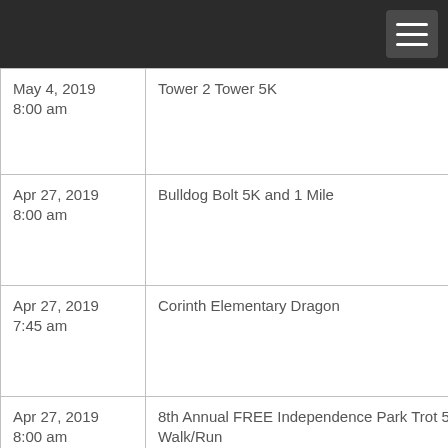| Date/Time | Event |
| --- | --- |
| May 4, 2019 8:00 am | Tower 2 Tower 5K |
| Apr 27, 2019 8:00 am | Bulldog Bolt 5K and 1 Mile |
| Apr 27, 2019 7:45 am | Corinth Elementary Dragon |
| Apr 27, 2019 8:00 am | 8th Annual FREE Independence Park Trot 5K Walk/Run |